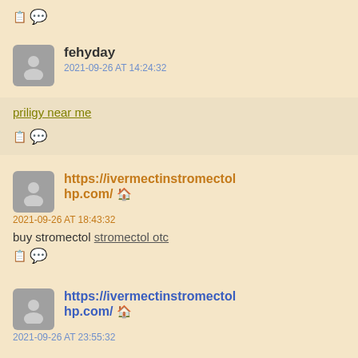[] ... (icon row)
fehyday
2021-09-26 AT 14:24:32
priligy near me
[] ...
https://ivermectinstromectolhp.com/ 🏠
2021-09-26 AT 18:43:32
buy stromectol stromectol otc
[] ...
https://ivermectinstromectolhp.com/ 🏠
2021-09-26 AT 23:55:32